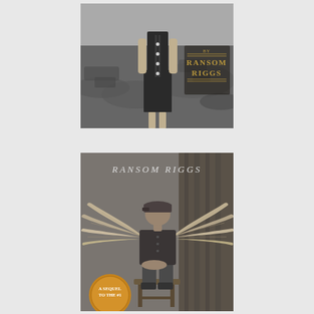[Figure (illustration): Book cover showing a headless girl in a dark dress standing in a desolate landscape, with 'by RANSOM RIGGS' text in gold on the right side. This is the cover of 'Miss Peregrine's Home for Peculiar Children'.]
[Figure (illustration): Book cover showing a boy sitting on a stool with large bird wings spread out behind him, wearing a cap and dark clothing, in front of a draped curtain. Text at top reads 'RANSOM RIGGS' and at bottom 'A SEQUEL TO THE #1'. This is the cover of 'Hollow City'.]